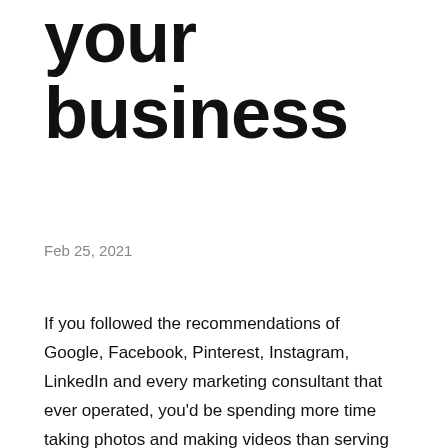your business
Feb 25, 2021
If you followed the recommendations of Google, Facebook, Pinterest, Instagram, LinkedIn and every marketing consultant that ever operated, you'd be spending more time taking photos and making videos than serving the customers that are right there in your store or waiting for you to respond to their email. So it makes sense to get others to do the heavy lifting for you by: